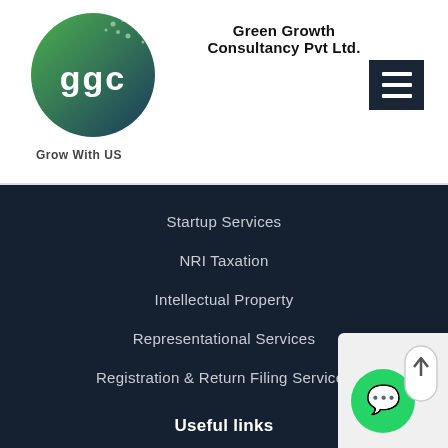[Figure (logo): GGC circular logo with green gradient and white text, tagline Grow With US]
Green Growth Consultancy Pvt Ltd.
Startup Services
NRI Taxation
Intellectual Property
Representational Services
Registration & Return Filing Services
Useful links
Income Tax Department | e-Filing
Goods And Services Tax